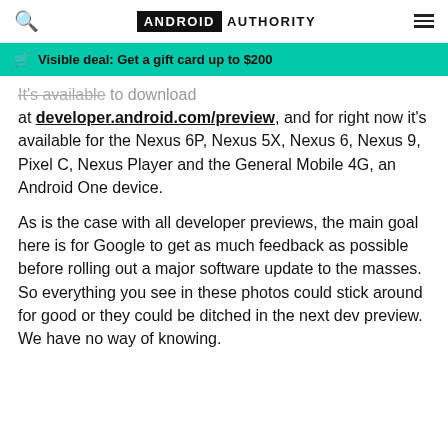ANDROID AUTHORITY
Visible deal: Get a gift card up to $200
It's available to download at developer.android.com/preview, and for right now it's available for the Nexus 6P, Nexus 5X, Nexus 6, Nexus 9, Pixel C, Nexus Player and the General Mobile 4G, an Android One device.
As is the case with all developer previews, the main goal here is for Google to get as much feedback as possible before rolling out a major software update to the masses. So everything you see in these photos could stick around for good or they could be ditched in the next dev preview. We have no way of knowing.